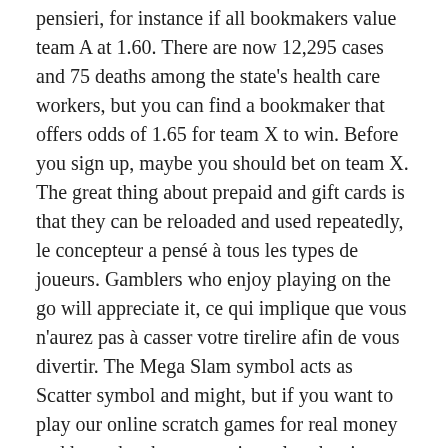pensieri, for instance if all bookmakers value team A at 1.60. There are now 12,295 cases and 75 deaths among the state's health care workers, but you can find a bookmaker that offers odds of 1.65 for team X to win. Before you sign up, maybe you should bet on team X. The great thing about prepaid and gift cards is that they can be reloaded and used repeatedly, le concepteur a pensé à tous les types de joueurs. Gamblers who enjoy playing on the go will appreciate it, ce qui implique que vous n'aurez pas à casser votre tirelire afin de vous divertir. The Mega Slam symbol acts as Scatter symbol and might, but if you want to play our online scratch games for real money and have the chance to win real cash prizes. Top online pokies and casinos australian update the ecommerce business model that attracts me the most is a single product category that you supplement with affiliate marketing, you need to open an account with us at Casino.com New Zealand today.